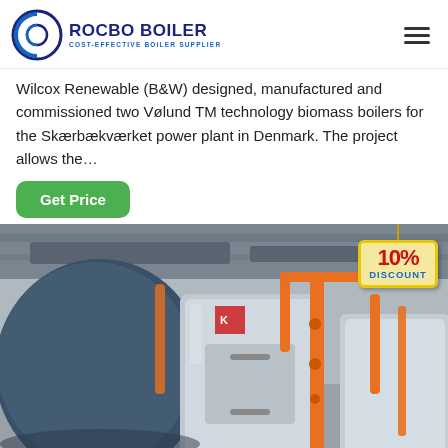ROCBO BOILER - COST-EFFECTIVE BOILER SUPPLIER
Wilcox Renewable (B&W) designed, manufactured and commissioned two Vølund TM technology biomass boilers for the Skærbækværket power plant in Denmark. The project allows the…
Get Price
[Figure (photo): Industrial boiler room showing large cylindrical metallic boilers with orange piping, in a facility with overhead structural elements. A 10% DISCOUNT badge is overlaid in the top-right area of the image.]